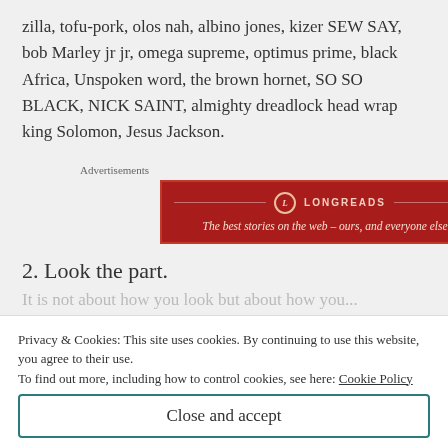zilla, tofu-pork, olos nah, albino jones, kizer SEW SAY, bob Marley jr jr, omega supreme, optimus prime, black Africa, Unspoken word, the brown hornet, SO SO BLACK, NICK SAINT, almighty dreadlock head wrap king Solomon, Jesus Jackson.
Advertisements
[Figure (other): Longreads advertisement banner with red background. Logo circle with L, text LONGREADS, tagline: The best stories on the web – ours, and everyone else's.]
2. Look the part.
Privacy & Cookies: This site uses cookies. By continuing to use this website, you agree to their use.
To find out more, including how to control cookies, see here: Cookie Policy
Close and accept